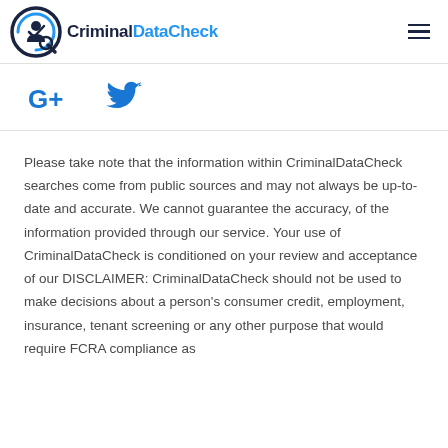CriminalDataCheck
[Figure (logo): CriminalDataCheck logo with circular checkmark icon and brand name]
[Figure (other): Google+ and Twitter social media icons]
Please take note that the information within CriminalDataCheck searches come from public sources and may not always be up-to-date and accurate. We cannot guarantee the accuracy, of the information provided through our service. Your use of CriminalDataCheck is conditioned on your review and acceptance of our DISCLAIMER: CriminalDataCheck should not be used to make decisions about a person's consumer credit, employment, insurance, tenant screening or any other purpose that would require FCRA compliance as